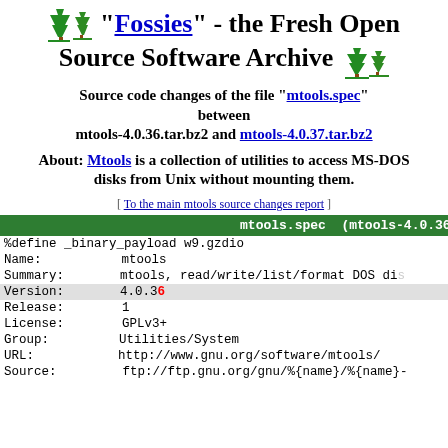"Fossies" - the Fresh Open Source Software Archive
Source code changes of the file "mtools.spec" between mtools-4.0.36.tar.bz2 and mtools-4.0.37.tar.bz2
About: Mtools is a collection of utilities to access MS-DOS disks from Unix without mounting them.
[ To the main mtools source changes report ]
| Field | Value |
| --- | --- |
| %define _binary_payload | w9.gzdio |
| Name: | mtools |
| Summary: | mtools, read/write/list/format DOS di... |
| Version: | 4.0.36 |
| Release: | 1 |
| License: | GPLv3+ |
| Group: | Utilities/System |
| URL: | http://www.gnu.org/software/mtools/ |
| Source: | ftp://ftp.gnu.org/gnu/%{name}/%{name}-... |